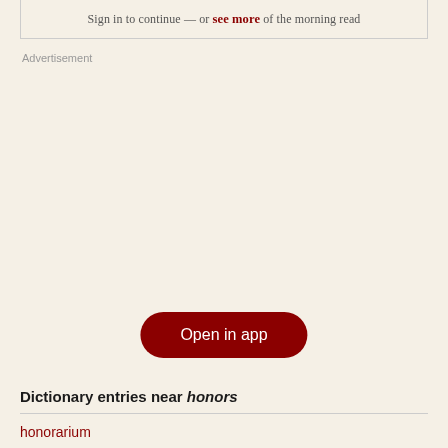See more of the morning read
Advertisement
Dictionary entries near honors
honorarium
Open in app